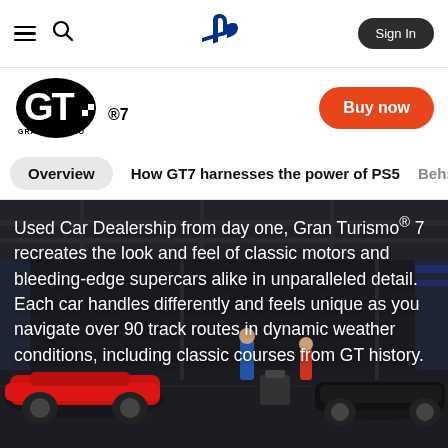Menu | Search | PlayStation | Sign In
[Figure (logo): Gran Turismo 7 logo]
Buy now
Overview | How GT7 harnesses the power of PS5 | Beh>
Used Car Dealership from day one, Gran Turismo® 7 recreates the look and feel of classic motors and bleeding-edge supercars alike in unparalleled detail. Each car handles differently and feels unique as you navigate over 90 track routes in dynamic weather conditions, including classic courses from GT history.
[Figure (photo): Racing cars and pit crew in a motorsport garage/pit lane, with multiple race cars visible including red and blue vehicles, mechanics working on cars]